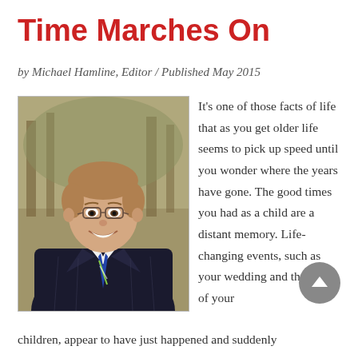Time Marches On
by Michael Hamline, Editor / Published May 2015
[Figure (photo): Headshot photo of Michael Hamline, a man in a dark pinstripe suit and striped tie, wearing glasses, smiling, with blurred trees in the background.]
It's one of those facts of life that as you get older life seems to pick up speed until you wonder where the years have gone. The good times you had as a child are a distant memory. Life-changing events, such as your wedding and the birth of your children, appear to have just happened and suddenly